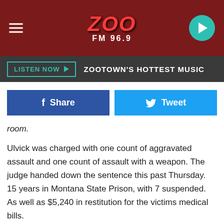[Figure (logo): ZOO FM 96.9 radio station logo on dark red header background with hamburger menu icon on left and circular play button on right]
LISTEN NOW ▶  ZOOTOWN'S HOTTEST MUSIC
room.
Ulvick was charged with one count of aggravated assault and one count of assault with a weapon. The judge handed down the sentence this past Thursday. 15 years in Montana State Prison, with 7 suspended. As well as $5,240 in restitution for the victims medical bills.
What lesson can we take away from this? Simply GROW UP!